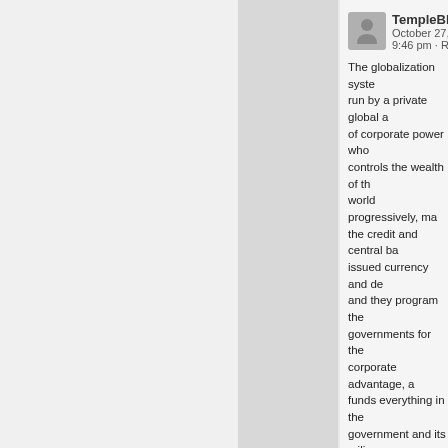TempleBBQ
October 27, 201
9:46 pm · Reply
The globalization system run by a private global a of corporate power who controls the wealth of the world progressively, ma the credit and central ba issued currency and de and they program the governments for the corporate advantage, a funds everything in the government and its mili and the globalization of military around the Glob NATO nucleus. That co is the real King North. It obvious a 101 level glob management student kn this or a basic level geo political researcher. Tru not common mainstream media covered informa but it is all researchable
For the GB to be acting